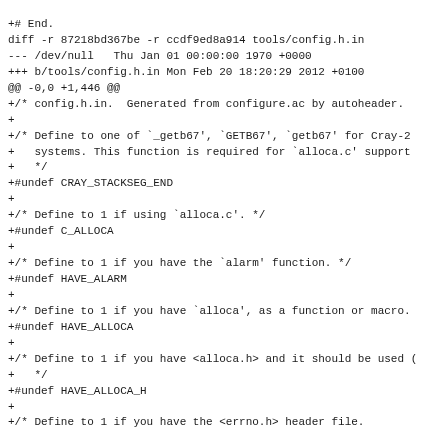+# End.
diff -r 87218bd367be -r ccdf9ed8a914 tools/config.h.in
--- /dev/null   Thu Jan 01 00:00:00 1970 +0000
+++ b/tools/config.h.in Mon Feb 20 18:20:29 2012 +0100
@@ -0,0 +1,446 @@
+/* config.h.in.  Generated from configure.ac by autoheader.
+
+/* Define to one of `_getb67', `GETB67', `getb67' for Cray-2
+   systems. This function is required for `alloca.c' support
+   */
+#undef CRAY_STACKSEG_END
+
+/* Define to 1 if using `alloca.c'. */
+#undef C_ALLOCA
+
+/* Define to 1 if you have the `alarm' function. */
+#undef HAVE_ALARM
+
+/* Define to 1 if you have `alloca', as a function or macro.
+#undef HAVE_ALLOCA
+
+/* Define to 1 if you have <alloca.h> and it should be used (
+   */
+#undef HAVE_ALLOCA_H
+
+/* Define to 1 if you have the <errno.h> header file.